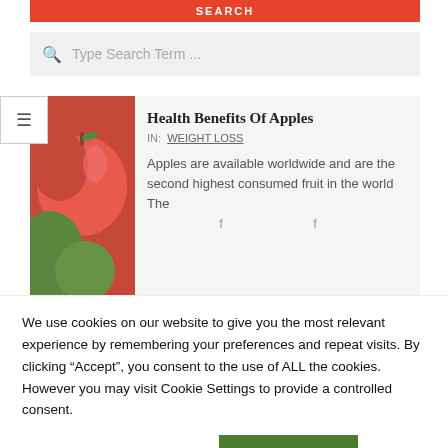SEARCH
Type Search Term ...
[Figure (screenshot): Blurred close-up photo of red and green apples]
Health Benefits Of Apples
IN: WEIGHT LOSS
Apples are available worldwide and are the second highest consumed fruit in the world  The
We use cookies on our website to give you the most relevant experience by remembering your preferences and repeat visits. By clicking “Accept”, you consent to the use of ALL the cookies. However you may visit Cookie Settings to provide a controlled consent.
Cookie settings
ACCEPT